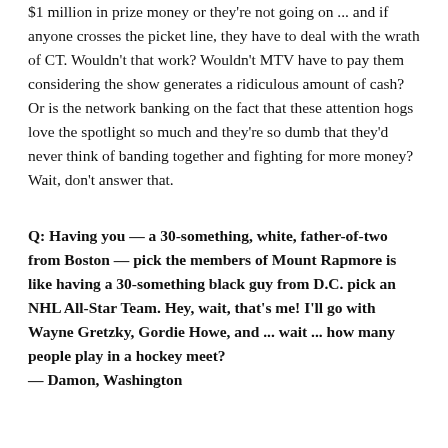$1 million in prize money or they're not going on ... and if anyone crosses the picket line, they have to deal with the wrath of CT. Wouldn't that work? Wouldn't MTV have to pay them considering the show generates a ridiculous amount of cash? Or is the network banking on the fact that these attention hogs love the spotlight so much and they're so dumb that they'd never think of banding together and fighting for more money? Wait, don't answer that.
Q: Having you — a 30-something, white, father-of-two from Boston — pick the members of Mount Rapmore is like having a 30-something black guy from D.C. pick an NHL All-Star Team. Hey, wait, that's me! I'll go with Wayne Gretzky, Gordie Howe, and ... wait ... how many people play in a hockey meet?
— Damon, Washington